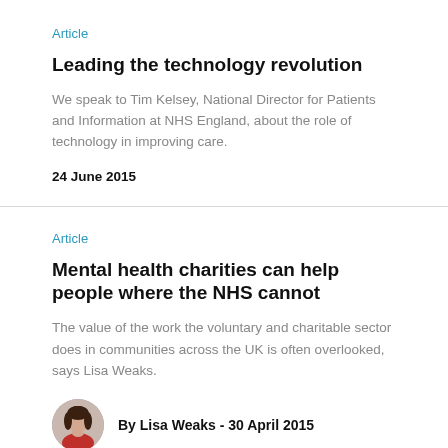Article
Leading the technology revolution
We speak to Tim Kelsey, National Director for Patients and Information at NHS England, about the role of technology in improving care.
24 June 2015
Article
Mental health charities can help people where the NHS cannot
The value of the work the voluntary and charitable sector does in communities across the UK is often overlooked, says Lisa Weaks.
By Lisa Weaks - 30 April 2015